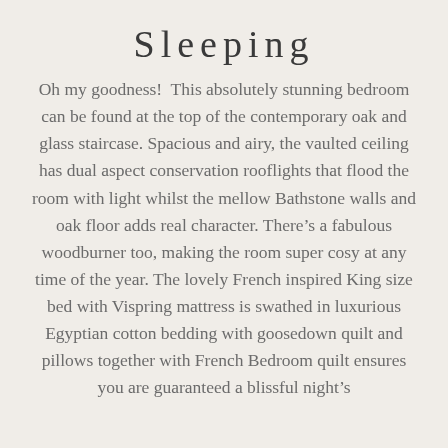Sleeping
Oh my goodness!  This absolutely stunning bedroom can be found at the top of the contemporary oak and glass staircase. Spacious and airy, the vaulted ceiling has dual aspect conservation rooflights that flood the room with light whilst the mellow Bathstone walls and oak floor adds real character. There’s a fabulous woodburner too, making the room super cosy at any time of the year. The lovely French inspired King size bed with Vispring mattress is swathed in luxurious Egyptian cotton bedding with goosedown quilt and pillows together with French Bedroom quilt ensures you are guaranteed a blissful night’s